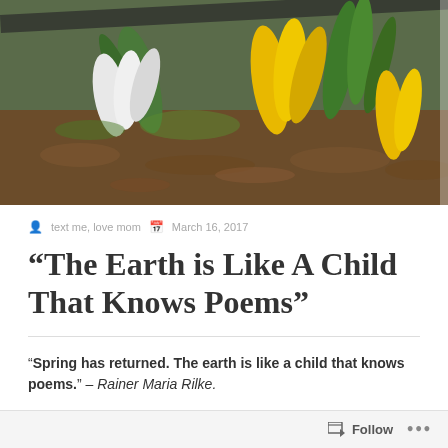[Figure (photo): Photograph of white and yellow crocus flowers blooming in a garden bed with soil and dried leaves]
text me, love mom   March 16, 2017
“The Earth is Like A Child That Knows Poems”
“Spring has returned. The earth is like a child that knows poems.” – Rainer Maria Rilke.
Follow ...